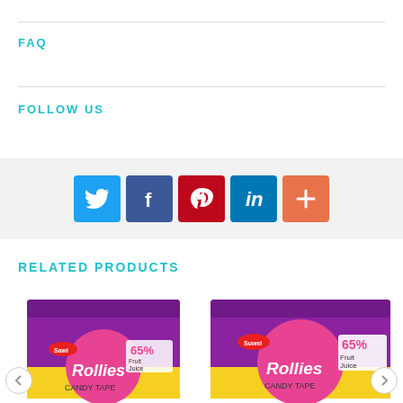FAQ
FOLLOW US
[Figure (infographic): Row of social media share buttons: Twitter (blue), Facebook (dark blue), Pinterest (red), LinkedIn (blue), More/Plus (orange)]
RELATED PRODUCTS
[Figure (photo): Two product images of Rollies candy tape boxes in purple and yellow packaging with '65% Fruit Juice' label, with left and right carousel navigation arrows]